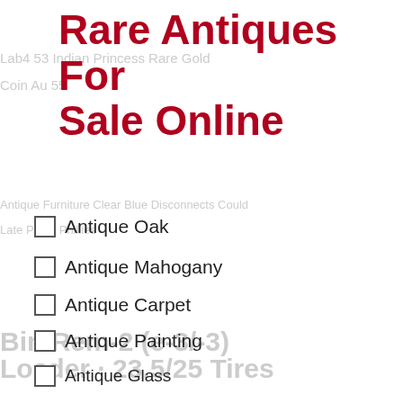Rare Antiques For Sale Online
Antique Oak
Antique Mahogany
Antique Carpet
Antique Painting
Antique Glass
Antique Plate
233025 23.31
Tire Size 23.5r25. An Enhanced Casing On The Rem-2 Is Engineered To Provide A Smooth Ride And Superior Traction. The